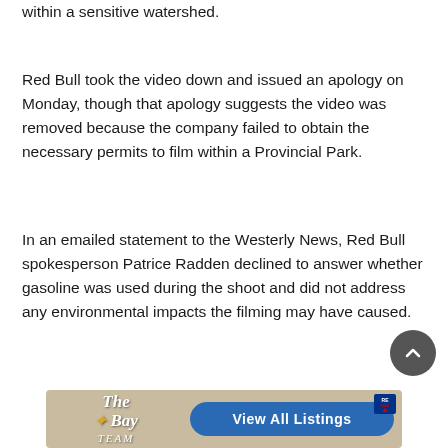within a sensitive watershed.
Red Bull took the video down and issued an apology on Monday, though that apology suggests the video was removed because the company failed to obtain the necessary permits to film within a Provincial Park.
In an emailed statement to the Westerly News, Red Bull spokesperson Patrice Radden declined to answer whether gasoline was used during the shoot and did not address any environmental impacts the filming may have caused.
[Figure (screenshot): Advertisement banner for The Bay Team real estate with a blue 'View All Listings' button and RE/MAX logo]